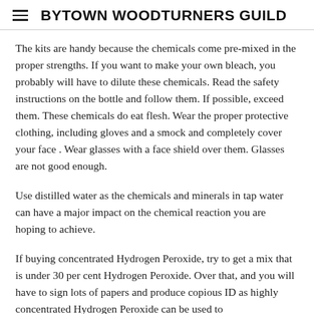BYTOWN WOODTURNERS GUILD
The kits are handy because the chemicals come pre-mixed in the proper strengths.  If you want to make your own bleach, you probably will have to dilute these chemicals. Read the safety instructions on the bottle and follow them.  If possible, exceed them.  These chemicals do eat flesh.  Wear the proper protective clothing, including gloves and a smock and completely cover your face .  Wear glasses with a face shield over them.  Glasses are not good enough.
Use distilled water as the chemicals and minerals in tap water can have a major impact on the chemical reaction you are hoping to achieve.
If buying concentrated Hydrogen Peroxide, try to get a mix that is under 30 per cent Hydrogen Peroxide.  Over that, and you will have to sign lots of papers and produce copious ID as highly concentrated Hydrogen Peroxide can be used to